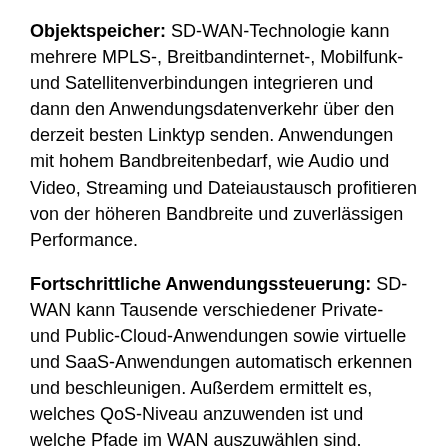Objektspeicher: SD-WAN-Technologie kann mehrere MPLS-, Breitbandinternet-, Mobilfunk- und Satellitenverbindungen integrieren und dann den Anwendungsdatenverkehr über den derzeit besten Linktyp senden. Anwendungen mit hohem Bandbreitenbedarf, wie Audio und Video, Streaming und Dateiaustausch profitieren von der höheren Bandbreite und zuverlässigen Performance.
Fortschrittliche Anwendungssteuerung: SD-WAN kann Tausende verschiedener Private- und Public-Cloud-Anwendungen sowie virtuelle und SaaS-Anwendungen automatisch erkennen und beschleunigen. Außerdem ermittelt es, welches QoS-Niveau anzuwenden ist und welche Pfade im WAN auszuwählen sind.